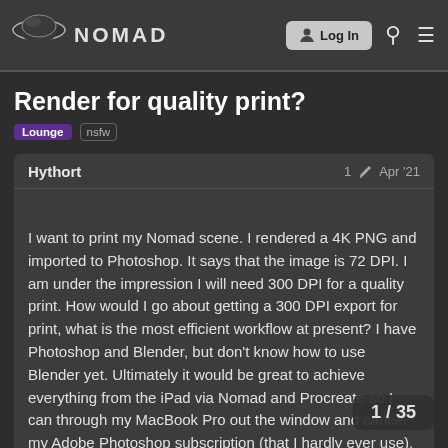Nomad — Log In
Render for quality print?
Lounge  nsfw
Hythort  1  Apr '21
I want to print my Nomad scene. I rendered a 4K PNG and imported to Photoshop. It says that the image is 72 DPI. I am under the impression I will need 300 DPI for a quality print. How would I go about getting a 300 DPI export for print, what is the most efficient workflow at present? I have Photoshop and Blender, but don't know how to use Blender yet. Ultimately it would be great to achieve everything from the iPad via Nomad and Procreate so I can through my MacBook Pro out the window and cancel my Adobe Photoshop subscription (that I hardly ever use). The Post Process in Nom... want to be able to keep it for the final 2D i... suggestions on the best workflow would be...
1 / 35